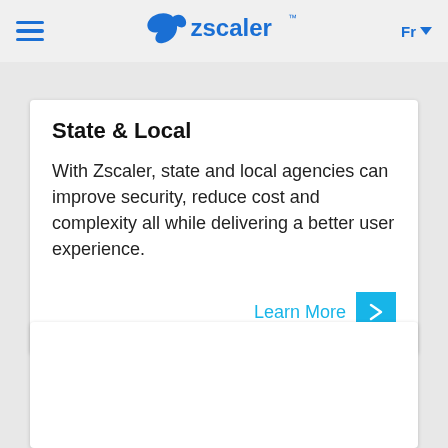Zscaler — Fr
State & Local
With Zscaler, state and local agencies can improve security, reduce cost and complexity all while delivering a better user experience.
Learn More